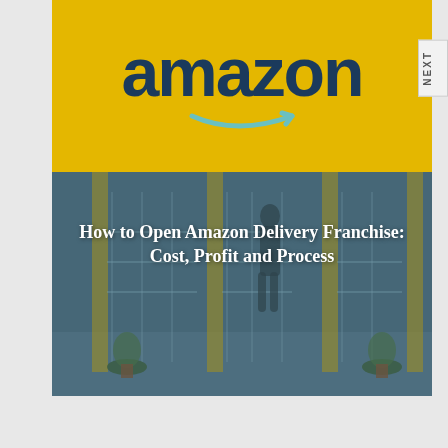[Figure (photo): Amazon store/warehouse exterior with large Amazon logo on yellow background at top, and a bluish-tinted interior/exterior scene below showing turnstiles, a person walking, and potted plants. Title text is overlaid on the lower portion of the image.]
How to Open Amazon Delivery Franchise: Cost, Profit and Process